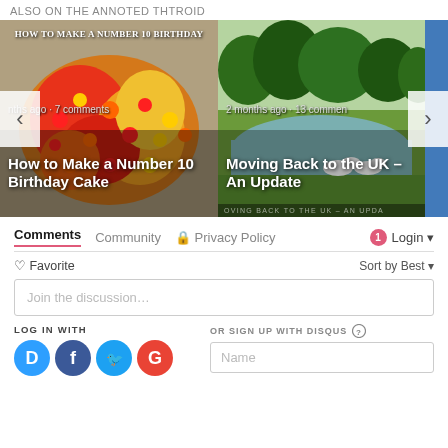ALSO ON THE ANNOTED THTROID
[Figure (screenshot): Carousel with two blog post cards. Left card: 'How to Make a Number 10 Birthday Cake' with colorful candy cake image, 'nths ago • 7 comments'. Right card: 'Moving Back to the UK – An Update' with swan/pond image, '2 months ago • 13 comments'. Left and right navigation arrows visible.]
Comments   Community   🔒 Privacy Policy   1   Login ▾
♡ Favorite   Sort by Best ▾
Join the discussion…
LOG IN WITH
OR SIGN UP WITH DISQUS ?
Name